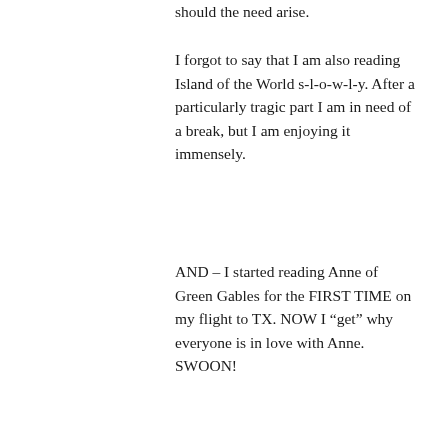should the need arise.
I forgot to say that I am also reading Island of the World s-l-o-w-l-y. After a particularly tragic part I am in need of a break, but I am enjoying it immensely.
AND – I started reading Anne of Green Gables for the FIRST TIME on my flight to TX. NOW I “get” why everyone is in love with Anne. SWOON!